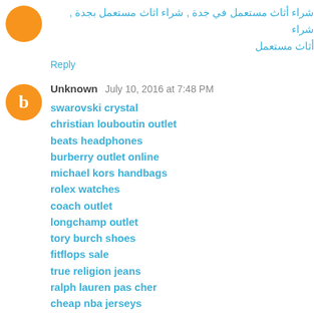شراء أثاث مستعمل في جدة , شراء اثاث مستعمل بجدة , شراء أثاث مستعمل
Reply
Unknown  July 10, 2016 at 7:48 PM
swarovski crystal
christian louboutin outlet
beats headphones
burberry outlet online
michael kors handbags
rolex watches
coach outlet
longchamp outlet
tory burch shoes
fitflops sale
true religion jeans
ralph lauren pas cher
cheap nba jerseys
camisetas futbol baratas
michael kors canada